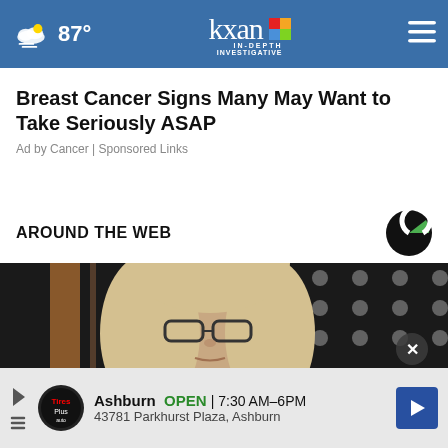87° KXAN IN-DEPTH INVESTIGATIVE
Breast Cancer Signs Many May Want to Take Seriously ASAP
Ad by Cancer | Sponsored Links
AROUND THE WEB
[Figure (photo): Close-up photo of a middle-aged woman with blonde hair and glasses, looking serious, with an American flag in the background]
Ashburn OPEN | 7:30 AM–6PM 43781 Parkhurst Plaza, Ashburn